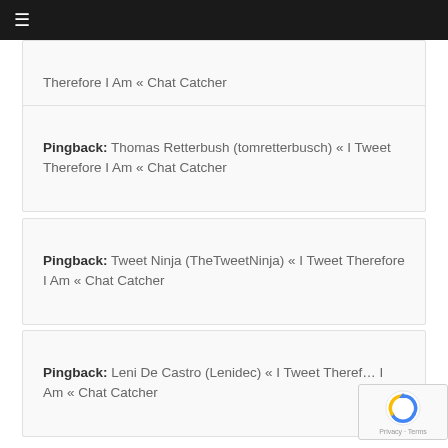≡
Therefore I Am « Chat Catcher
Pingback: Thomas Retterbush (tomretterbusch) « I Tweet Therefore I Am « Chat Catcher
Pingback: Tweet Ninja (TheTweetNinja) « I Tweet Therefore I Am « Chat Catcher
Pingback: Leni De Castro (Lenidec) « I Tweet Therefore I Am « Chat Catcher